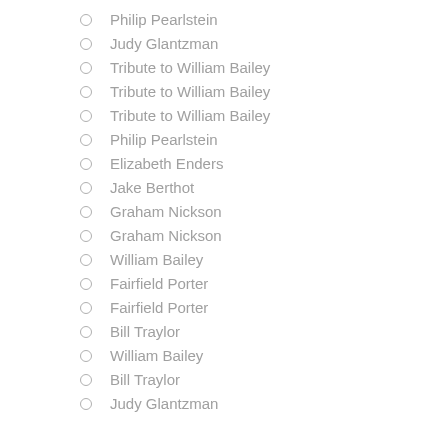Philip Pearlstein
Judy Glantzman
Tribute to William Bailey
Tribute to William Bailey
Tribute to William Bailey
Philip Pearlstein
Elizabeth Enders
Jake Berthot
Graham Nickson
Graham Nickson
William Bailey
Fairfield Porter
Fairfield Porter
Bill Traylor
William Bailey
Bill Traylor
Judy Glantzman